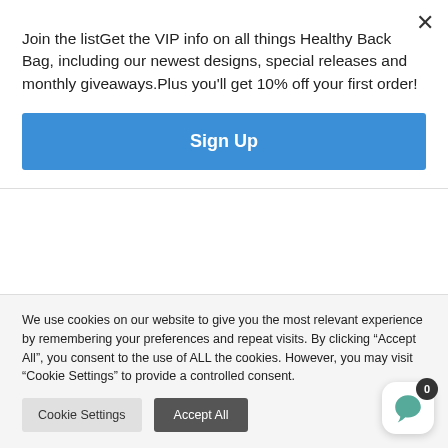Join the listGet the VIP info on all things Healthy Back Bag, including our newest designs, special releases and monthly giveaways.Plus you'll get 10% off your first order!
Sign Up
and our mood." Geeta Sidhu-Robb Nosh Detox Founder
Vitamin D has been associated with mood changes.
We use cookies on our website to give you the most relevant experience by remembering your preferences and repeat visits. By clicking "Accept All", you consent to the use of ALL the cookies. However, you may visit "Cookie Settings" to provide a controlled consent.
Cookie Settings
Accept All